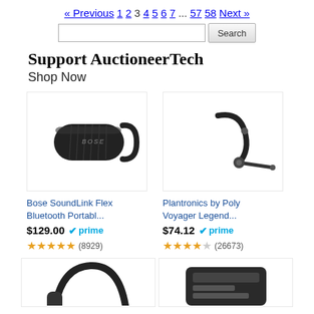« Previous 1 2 3 4 5 6 7 ... 57 58 Next »
Support AuctioneerTech
Shop Now
[Figure (photo): Bose SoundLink Flex Bluetooth portable speaker, black, shown at angle]
Bose SoundLink Flex Bluetooth Portabl...
$129.00 ✓prime (8929 reviews, 5 stars)
[Figure (photo): Plantronics by Poly Voyager Legend Bluetooth headset, black, in-ear with ear hook]
Plantronics by Poly Voyager Legend...
$74.12 ✓prime (26673 reviews, 4.5 stars)
[Figure (photo): Partial view of a black curved product, likely a headset or earphone]
[Figure (photo): Partial view of a black device, likely a phone or accessory]